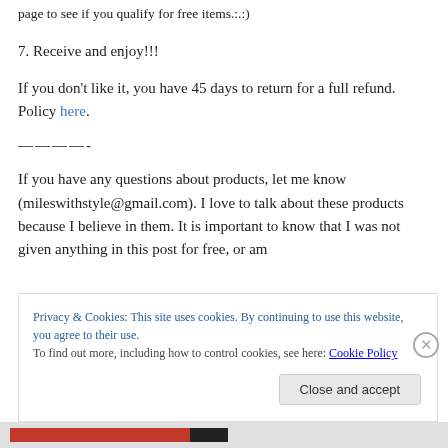page to see if you qualify for free items.:.)
7. Receive and enjoy!!!
If you don’t like it, you have 45 days to return for a full refund. Policy here.
———-
If you have any questions about products, let me know (mileswithstyle@gmail.com). I love to talk about these products because I believe in them. It is important to know that I was not given anything in this post for free, or am
Privacy & Cookies: This site uses cookies. By continuing to use this website, you agree to their use.
To find out more, including how to control cookies, see here: Cookie Policy
Close and accept